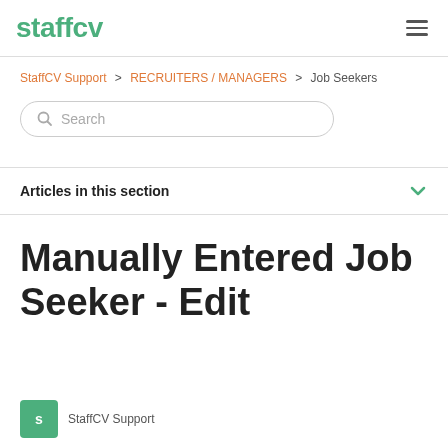staffcv
StaffCV Support > RECRUITERS / MANAGERS > Job Seekers
Search
Articles in this section
Manually Entered Job Seeker - Edit
StaffCV Support